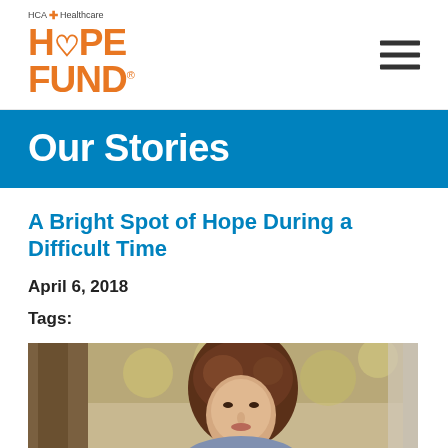[Figure (logo): HCA Healthcare Hope Fund logo with orange text and heart icon]
Our Stories
A Bright Spot of Hope During a Difficult Time
April 6, 2018
Tags:
[Figure (photo): Portrait of a woman with auburn hair outdoors near a tree, natural lighting]